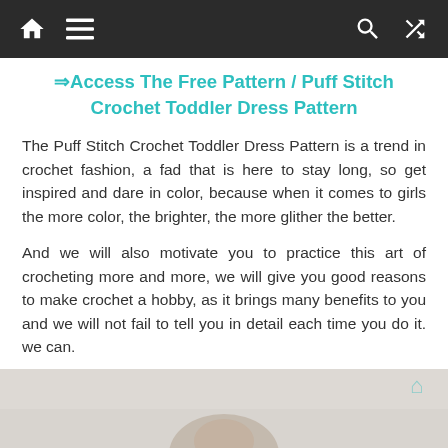Navigation bar with home, menu, search, and shuffle icons
⇒Access The Free Pattern / Puff Stitch Crochet Toddler Dress Pattern
The Puff Stitch Crochet Toddler Dress Pattern is a trend in crochet fashion, a fad that is here to stay long, so get inspired and dare in color, because when it comes to girls the more color, the brighter, the more glither the better.
And we will also motivate you to practice this art of crocheting more and more, we will give you good reasons to make crochet a hobby, as it brings many benefits to you and we will not fail to tell you in detail each time you do it. we can.
[Figure (photo): Partial view of a child wearing a crochet toddler dress, partially cropped at the bottom of the page]